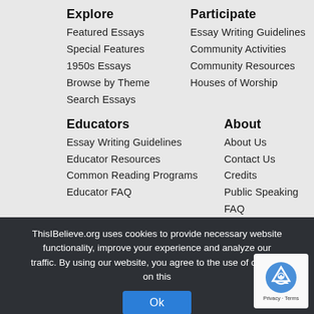Explore
Featured Essays
Special Features
1950s Essays
Browse by Theme
Search Essays
Participate
Essay Writing Guidelines
Community Activities
Community Resources
Houses of Worship
Educators
Essay Writing Guidelines
Educator Resources
Common Reading Programs
Educator FAQ
About
About Us
Contact Us
Credits
Public Speaking
FAQ
Store
Store
My Account/Log Out
Order Tracking
Shopping Cart
Donate
Make a Donation
ThisIBelieve.org uses cookies to provide necessary website functionality, improve your experience and analyze our traffic. By using our website, you agree to the use of cookies on this